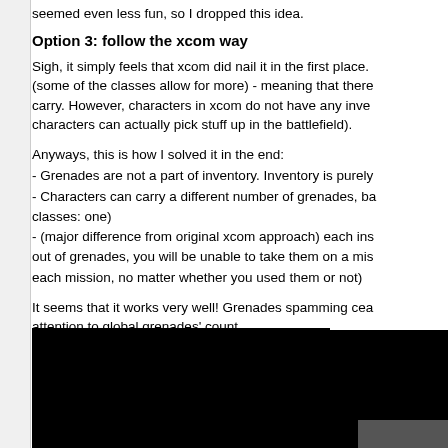seemed even less fun, so I dropped this idea.
Option 3: follow the xcom way
Sigh, it simply feels that xcom did nail it in the first place. (some of the classes allow for more) - meaning that there carry. However, characters in xcom do not have any inve characters can actually pick stuff up in the battlefield).
Anyways, this is how I solved it in the end:
- Grenades are not a part of inventory. Inventory is purely
- Characters can carry a different number of grenades, ba classes: one)
- (major difference from original xcom approach) each ins out of grenades, you will be unable to take them on a mis each mission, no matter whether you used them or not)
It seems that it works very well! Grenades spamming cea attention to global grenades' count.
And here's a gif with the new grenade action display - no the action buttons list.
[Figure (screenshot): A dark/black screenshot showing a game interface with a small UI element in the bottom right corner.]